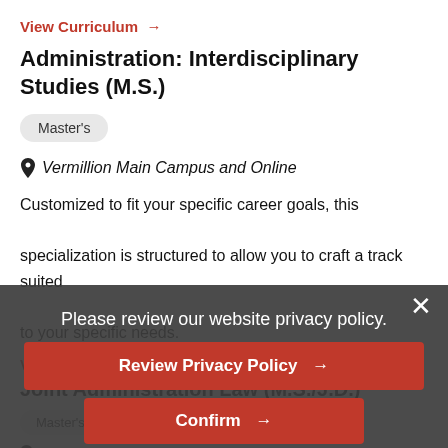View Curriculum →
Administration: Interdisciplinary Studies (M.S.)
Master's
Vermillion Main Campus and Online
Customized to fit your specific career goals, this specialization is structured to allow you to craft a track suited to your specific needs.
View Curriculum →
Joint Administration Law (M.S./J.D.)
Master's
Vermillion Main Campus
A student can concurrently pursue a M.S. in Administration
Please review our website privacy policy.
Review Privacy Policy →
Confirm →